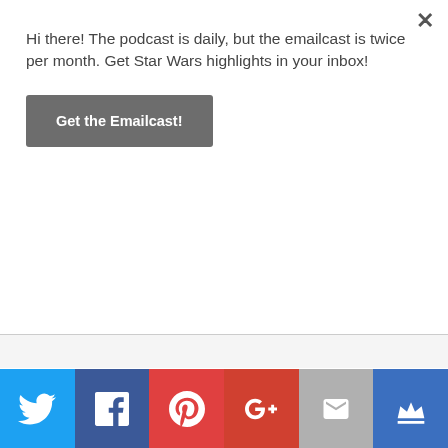Hi there! The podcast is daily, but the emailcast is twice per month. Get Star Wars highlights in your inbox!
Get the Emailcast!
[Figure (infographic): Social media share bar at the bottom with Twitter, Facebook, Pinterest, Google+, Email, and Crown icons in colored buttons]